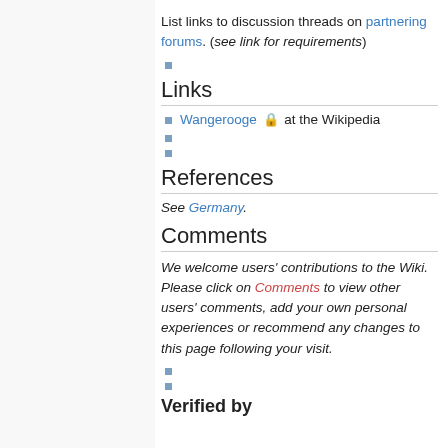List links to discussion threads on partnering forums. (see link for requirements)
Links
Wangerooge 🔒 at the Wikipedia
References
See Germany.
Comments
We welcome users' contributions to the Wiki. Please click on Comments to view other users' comments, add your own personal experiences or recommend any changes to this page following your visit.
Verified by